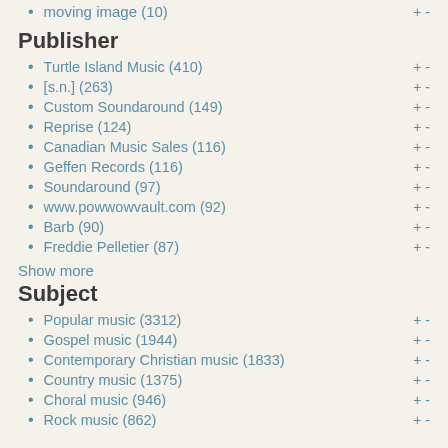moving image (10)
Publisher
Turtle Island Music (410)
[s.n.] (263)
Custom Soundaround (149)
Reprise (124)
Canadian Music Sales (116)
Geffen Records (116)
Soundaround (97)
www.powwowvault.com (92)
Barb (90)
Freddie Pelletier (87)
Show more
Subject
Popular music (3312)
Gospel music (1944)
Contemporary Christian music (1833)
Country music (1375)
Choral music (946)
Rock music (862)